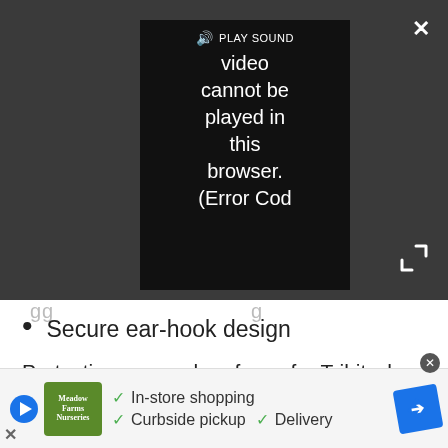[Figure (screenshot): Video player screenshot showing a dark gray background with a centered black video frame. A 'PLAY SOUND' label with speaker icon appears at top. Text reads: 'Video cannot be played in this browser. (Error Cod'. A white X close button is at top right and an expand/fullscreen icon at bottom right.]
Secure ear-hook design
Protection was a clear focus for Tribit when designing the MoveBuds H1. These buds are composed of solid plastic and feature flexible hooks that conveniently wrap around the ears. Anti-bacterial tips are bundled to minimize any bacterial buildup in your ears caused by sweat, earwax, dirt, and water. Speaking of water, it turns out the MoveBuds H1 can function under up to 5 feet of water for an hour, thanks to the IPX8 water
[Figure (screenshot): Advertisement banner at bottom of page. Shows a blue circular play button, a green Meadow Farms Nurseries logo, checkmarks with 'In-store shopping', 'Curbside pickup', 'Delivery' text, and a blue diamond-shaped navigation icon. An X close button at bottom left.]